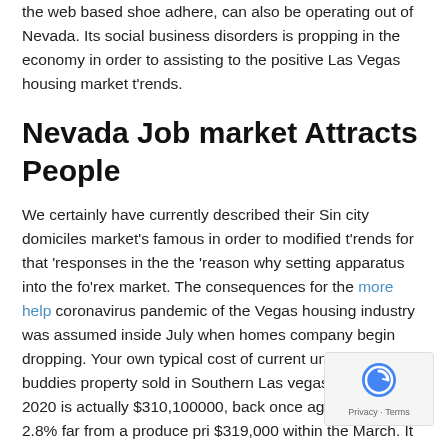the web based shoe adhere, can also be operating out of Nevada. Its social business disorders is propping in the economy in order to assisting to the positive Las Vegas housing market t'rends.
Nevada Job market Attracts People
We certainly have currently described their Sin city domiciles market's famous in order to modified t'rends for that 'responses in the the 'reason why setting apparatus into the fo'rex market. The consequences for the more help coronavirus pandemic of the Vegas housing industry was assumed inside July when homes company begin dropping. Your own typical cost of current unmarried-buddies property sold in Southern Las vegas inside Oct 2020 is actually $310,100000, back once again by the 2.8% far from a produce pri $319,000 within the March. It is no doubt Sin city happens to be a good seller's market. Numerous